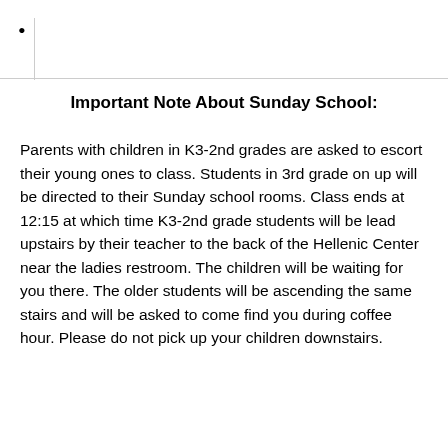•
Important Note About Sunday School:
Parents with children in K3-2nd grades are asked to escort their young ones to class. Students in 3rd grade on up will be directed to their Sunday school rooms. Class ends at 12:15 at which time K3-2nd grade students will be lead upstairs by their teacher to the back of the Hellenic Center near the ladies restroom. The children will be waiting for you there. The older students will be ascending the same stairs and will be asked to come find you during coffee hour. Please do not pick up your children downstairs.